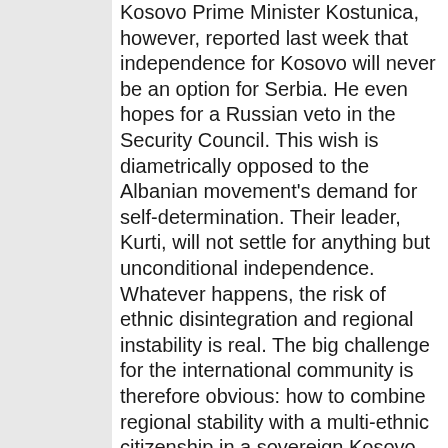Kosovo Prime Minister Kostunica, however, reported last week that independence for Kosovo will never be an option for Serbia. He even hopes for a Russian veto in the Security Council. This wish is diametrically opposed to the Albanian movement's demand for self-determination. Their leader, Kurti, will not settle for anything but unconditional independence. Whatever happens, the risk of ethnic disintegration and regional instability is real. The big challenge for the international community is therefore obvious: how to combine regional stability with a multi-ethnic citizenship in a sovereign Kosovo. Last week, Commissioner Rehn spoke of this as being an important litmus test for the EU. I would, in this respect, wish the Commission and Council much wisdom, support and ...